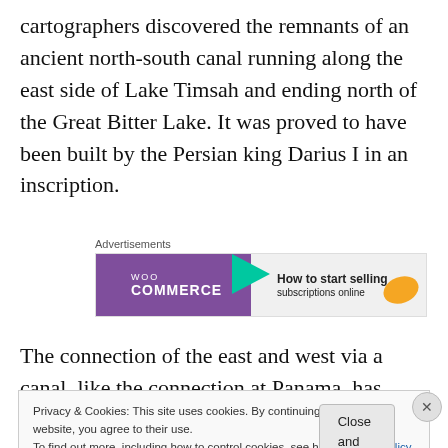cartographers discovered the remnants of an ancient north-south canal running along the east side of Lake Timsah and ending north of the Great Bitter Lake. It was proved to have been built by the Persian king Darius I in an inscription.
[Figure (other): WooCommerce advertisement banner with purple background and orange accent. Text reads: 'WOO COMMERCE - How to start selling subscriptions online']
The connection of the east and west via a canal, like the connection at Panama, has been of ongoing interest. The
Privacy & Cookies: This site uses cookies. By continuing to use this website, you agree to their use.
To find out more, including how to control cookies, see here: Cookie Policy
Close and accept